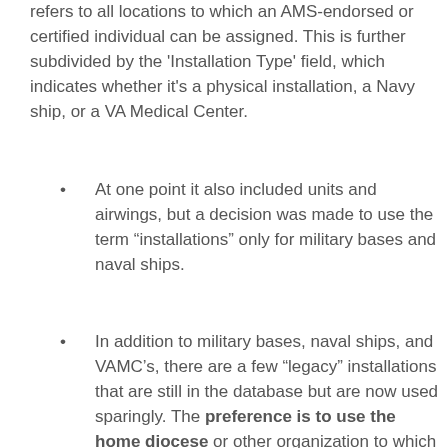refers to all locations to which an AMS-endorsed or certified individual can be assigned. This is further subdivided by the 'Installation Type' field, which indicates whether it's a physical installation, a Navy ship, or a VA Medical Center.
At one point it also included units and airwings, but a decision was made to use the term “installations” only for military bases and naval ships.
In addition to military bases, naval ships, and VAMC’s, there are a few “legacy” installations that are still in the database but are now used sparingly. The preference is to use the home diocese or other organization to which the individual is attached in these cases, but in the